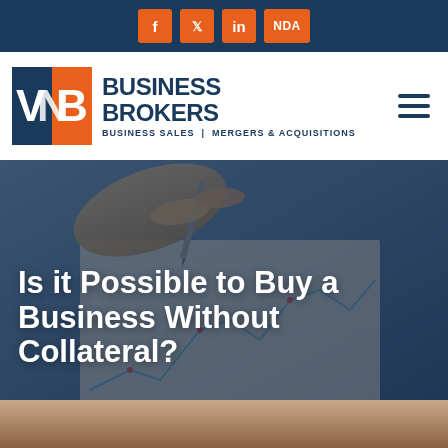f  Twitter  in  NDA
[Figure (logo): VNB Business Brokers logo with tagline: Business Sales | Mergers & Acquisitions]
[Figure (photo): Hands writing on financial charts/documents with pen, background photo for article header]
Is it Possible to Buy a Business Without Collateral?
[Figure (photo): Partial bottom image strip, appears to be a person or office scene]